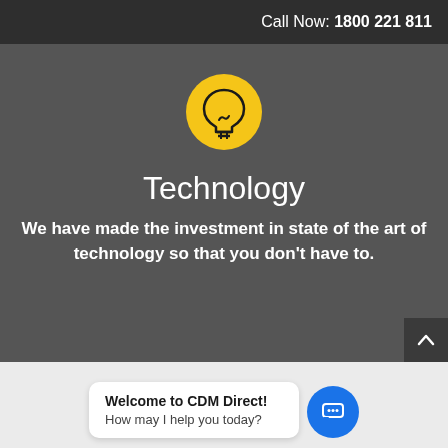Call Now: 1800 221 811
[Figure (illustration): Yellow circle with a light bulb icon in the center, dark outline on golden/yellow background]
Technology
We have made the investment in state of the art of technology so that you don't have to.
[Figure (illustration): Dark scroll-to-top button with an upward chevron arrow, positioned at bottom right of the main section]
[Figure (illustration): Chat widget: white rounded bubble saying 'Welcome to CDM Direct! How may I help you today?' with a blue circle chat icon to the right]